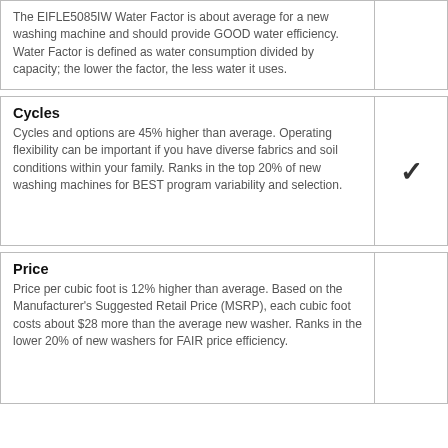The EIFLE5085IW Water Factor is about average for a new washing machine and should provide GOOD water efficiency. Water Factor is defined as water consumption divided by capacity; the lower the factor, the less water it uses.
Cycles
Cycles and options are 45% higher than average. Operating flexibility can be important if you have diverse fabrics and soil conditions within your family. Ranks in the top 20% of new washing machines for BEST program variability and selection.
Price
Price per cubic foot is 12% higher than average. Based on the Manufacturer's Suggested Retail Price (MSRP), each cubic foot costs about $28 more than the average new washer. Ranks in the lower 20% of new washers for FAIR price efficiency.